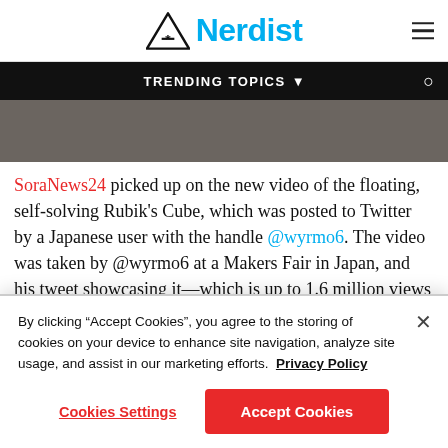Nerdist
TRENDING TOPICS
[Figure (photo): Dark gray/brown banner image area (partial article hero image)]
SoraNews24 picked up on the new video of the floating, self-solving Rubik’s Cube, which was posted to Twitter by a Japanese user with the handle @wyrmo6. The video was taken by @wyrmo6 at a Makers Fair in Japan, and his tweet showcasing it—which is up to 1.6 million views as of
By clicking “Accept Cookies”, you agree to the storing of cookies on your device to enhance site navigation, analyze site usage, and assist in our marketing efforts.  Privacy Policy
Cookies Settings
Accept Cookies